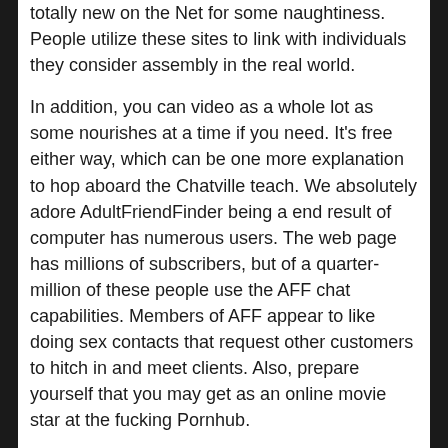totally new on the Net for some naughtiness. People utilize these sites to link with individuals they consider assembly in the real world.
In addition, you can video as a whole lot as some nourishes at a time if you need. It's free either way, which can be one more explanation to hop aboard the Chatville teach. We absolutely adore AdultFriendFinder being a end result of computer has numerous users. The web page has millions of subscribers, but of a quarter-million of these people use the AFF chat capabilities. Members of AFF appear to like doing sex contacts that request other customers to hitch in and meet clients. Also, prepare yourself that you may get as an online movie star at the fucking Pornhub.
What we can confirm is that Ashley Madison is a amazing way to fulfill others who wish to have a naughty chat with you, taken or in some other case. Chatropolis is very average for the reason that it sells you to chat rooms once you're on the net internet site.
It can are most likely to feel more like any video